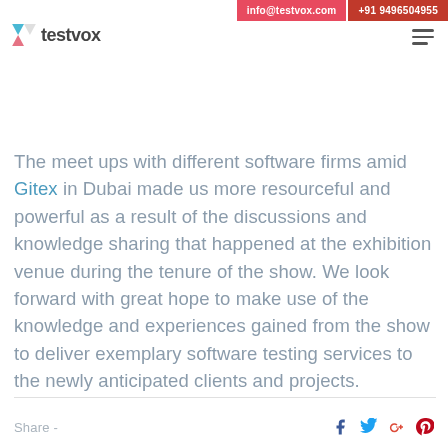info@testvox.com  +91 9496504955
testvox
The meet ups with different software firms amid Gitex in Dubai made us more resourceful and powerful as a result of the discussions and knowledge sharing that happened at the exhibition venue during the tenure of the show. We look forward with great hope to make use of the knowledge and experiences gained from the show to deliver exemplary software testing services to the newly anticipated clients and projects.
Share -